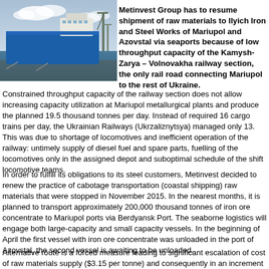[Figure (photo): A blue cargo/shipping vessel docked at a port with cranes visible in the background under a partly cloudy sky.]
Metinvest Group has to resume shipment of raw materials to Ilyich Iron and Steel Works of Mariupol and Azovstal via seaports because of low throughput capacity of the Kamysh-Zarya – Volnovakha railway section, the only rail road connecting Mariupol to the rest of Ukraine.
Constrained throughput capacity of the railway section does not allow increasing capacity utilization at Mariupol metallurgical plants and produce the planned 19.5 thousand tonnes per day. Instead of required 16 cargo trains per day, the Ukrainian Railways (Ukrzaliznytsya) managed only 13. This was due to shortage of locomotives and inefficient operation of the railway: untimely supply of diesel fuel and spare parts, fuelling of the locomotives only in the assigned depot and suboptimal schedule of the shift locomotive teams.
In order to fulfill its obligations to its steel customers, Metinvest decided to renew the practice of cabotage transportation (coastal shipping) raw materials that were stopped in November 2015. In the nearest months, it is planned to transport approximately 200,000 thousand tonnes of iron ore concentrate to Mariupol ports via Berdyansk Port. The seaborne logistics will engage both large-capacity and small capacity vessels. In the beginning of April the first vessel with iron ore concentrate was unloaded in the port of Azovstal, the second vessel is awaiting to be unloaded.
Alternative route is a forced measure leading to significant escalation of cost of raw materials supply ($3.15 per tonne) and consequently in an increment of iron…